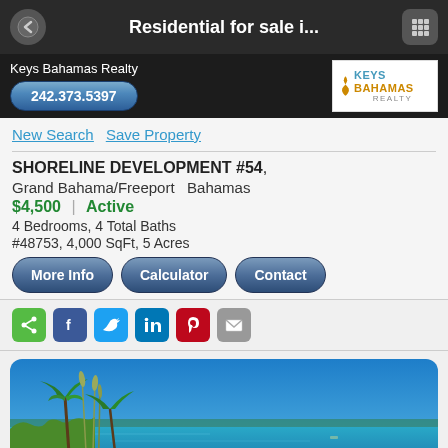Residential for sale i...
Keys Bahamas Realty
242.373.5397
New Search  Save Property
SHORELINE DEVELOPMENT #54, Grand Bahama/Freeport  Bahamas
$4,500 | Active
4 Bedrooms, 4 Total Baths
#48753, 4,000 SqFt, 5 Acres
More Info | Calculator | Contact
[Figure (photo): Beach scene with white sand, turquoise water, blue sky, and palm trees on left side]